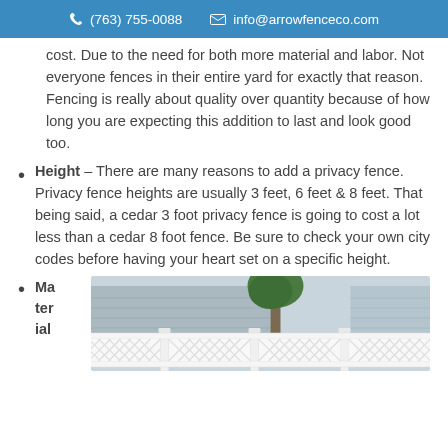(763) 755-0088  info@arrowfenceco.com
cost. Due to the need for both more material and labor. Not everyone fences in their entire yard for exactly that reason. Fencing is really about quality over quantity because of how long you are expecting this addition to last and look good too.
Height – There are many reasons to add a privacy fence. Privacy fence heights are usually 3 feet, 6 feet & 8 feet. That being said, a cedar 3 foot privacy fence is going to cost a lot less than a cedar 8 foot fence. Be sure to check your own city codes before having your heart set on a specific height.
Material
[Figure (photo): White vinyl lattice-style privacy fence in front of a house]